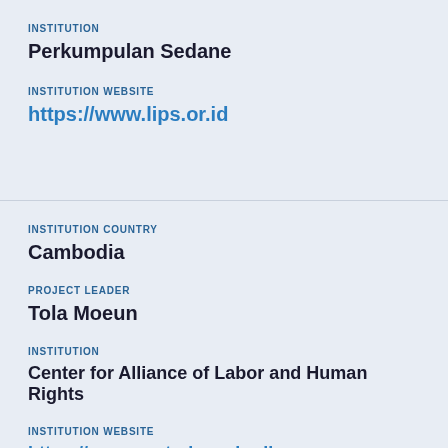INSTITUTION
Perkumpulan Sedane
INSTITUTION WEBSITE
https://www.lips.or.id
INSTITUTION COUNTRY
Cambodia
PROJECT LEADER
Tola Moeun
INSTITUTION
Center for Alliance of Labor and Human Rights
INSTITUTION WEBSITE
https://www.central-cambodia.org